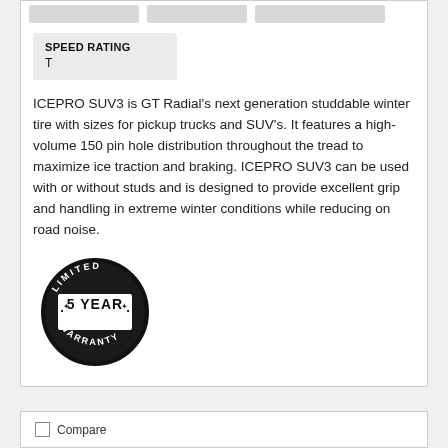SPEED RATING
T
ICEPRO SUV3 is GT Radial's next generation studdable winter tire with sizes for pickup trucks and SUV's. It features a high-volume 150 pin hole distribution throughout the tread to maximize ice traction and braking. ICEPRO SUV3 can be used with or without studs and is designed to provide excellent grip and handling in extreme winter conditions while reducing on road noise.
[Figure (logo): Circular black and white badge reading '5 YEAR WARRANTY LIMITED']
Compare